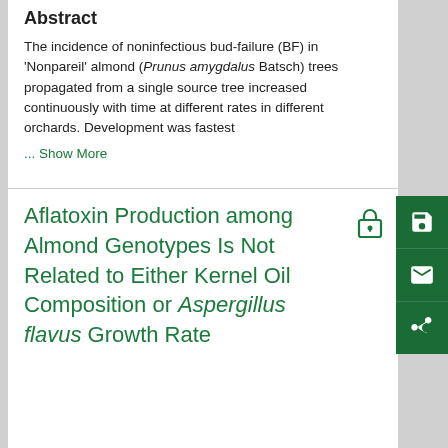Abstract
The incidence of noninfectious bud-failure (BF) in 'Nonpareil' almond (Prunus amygdalus Batsch) trees propagated from a single source tree increased continuously with time at different rates in different orchards. Development was fastest
... Show More
Aflatoxin Production among Almond Genotypes Is Not Related to Either Kernel Oil Composition or Aspergillus flavus Growth Rate